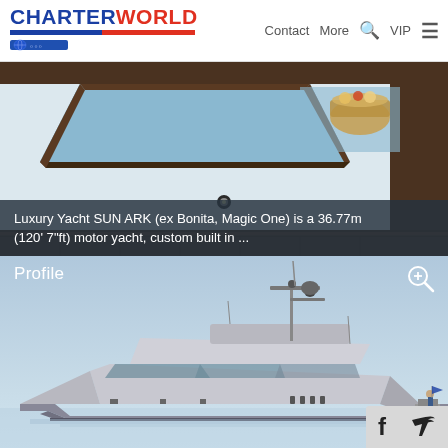CHARTERWORLD  Contact  More  VIP
[Figure (photo): Yacht interior skylight view looking up through teak-framed overhead hatch, blue sky visible, with food/drink basket on deck]
Luxury Yacht SUN ARK (ex Bonita, Magic One) is a 36.77m (120' 7"ft) motor yacht, custom built in ...
[Figure (photo): Profile side view of luxury motor yacht SUN ARK on calm water against light blue sky]
Profile